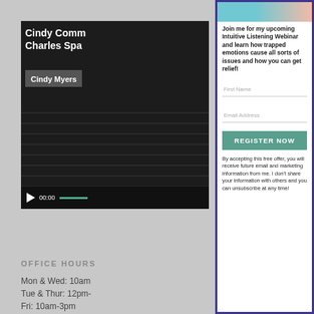[Figure (screenshot): Video player showing 'Cindy Comm... Charles Spa...' with Cindy Myers name badge, showing 00:00 timecode with play button and green progress bar]
OFFICE HOURS
Mon & Wed: 10am-
Tue & Thur: 12pm-
Fri: 10am-3pm
[Figure (screenshot): Registration form card with teal/blue border. Shows header image, webinar signup text, First Name and Email Address fields, REGISTER NOW button, and disclaimer text.]
Join me for my upcoming Intuitive Listening Webinar and learn how trapped emotions cause all sorts of issues and how you can get relief!
First Name
Email Address
REGISTER NOW
By accepting this free offer, you will receive future email and marketing information from me. I don't share your information with others and you can unsubscribe at any time!